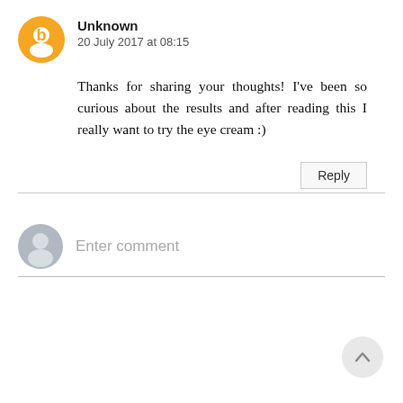Unknown
20 July 2017 at 08:15
Thanks for sharing your thoughts! I've been so curious about the results and after reading this I really want to try the eye cream :)
Reply
Enter comment